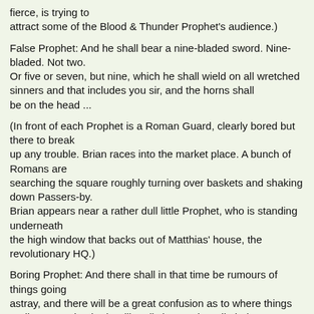fierce, is trying to attract some of the Blood & Thunder Prophet's audience.)
False Prophet: And he shall bear a nine-bladed sword. Nine-bladed. Not two.
Or five or seven, but nine, which he shall wield on all wretched sinners and that includes you sir, and the horns shall
be on the head ...
(In front of each Prophet is a Roman Guard, clearly bored but there to break
up any trouble. Brian races into the market place. A bunch of Romans are
searching the square roughly turning over baskets and shaking down Passers-by.
Brian appears near a rather dull little Prophet, who is standing underneath
the high window that backs out of Matthias' house, the revolutionary HQ.)
Boring Prophet: And there shall in that time be rumours of things going
astray, and there will be a great confusion as to where things really are, and nobody will really know where lieth those